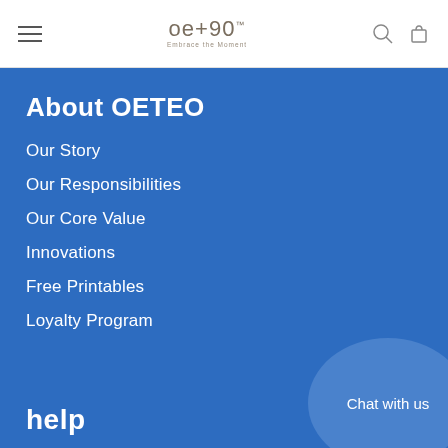oe+90 Embrace the Moment — navigation header with hamburger menu, search icon, and cart icon
About OETEO
Our Story
Our Responsibilities
Our Core Value
Innovations
Free Printables
Loyalty Program
Chat with us
help